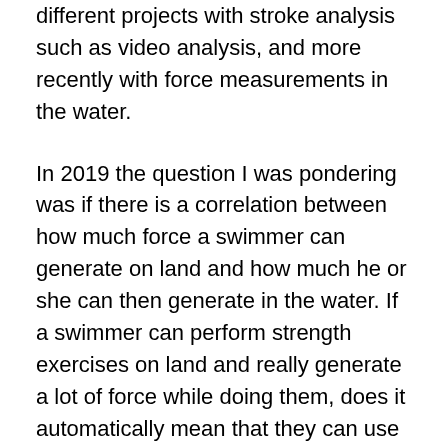different projects with stroke analysis such as video analysis, and more recently with force measurements in the water.
In 2019 the question I was pondering was if there is a correlation between how much force a swimmer can generate on land and how much he or she can then generate in the water. If a swimmer can perform strength exercises on land and really generate a lot of force while doing them, does it automatically mean that they can use that same amount of force in the water?
Together with Jack Fabian (PhD and Coach), Rob Sleamaker (CEO of Vasa Inc) and Ari Auvinen (Chairman of Trainesense), I set out to get some